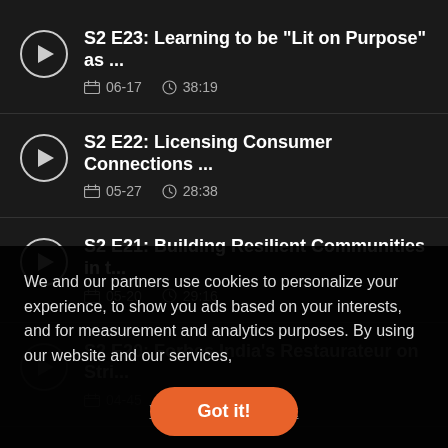S2 E23: Learning to be “Lit on Purpose” as ... | 06-17 | 38:19
S2 E22: Licensing Consumer Connections ... | 05-27 | 28:38
S2 E21: Building Resilient Communities in t... | 05-20 | 29:16
S2 E20: Forbes India's Restaurateur on Stri... | 04-45 | 1:35:1
We and our partners use cookies to personalize your experience, to show you ads based on your interests, and for measurement and analytics purposes. By using our website and our services,
Got it!
View...box